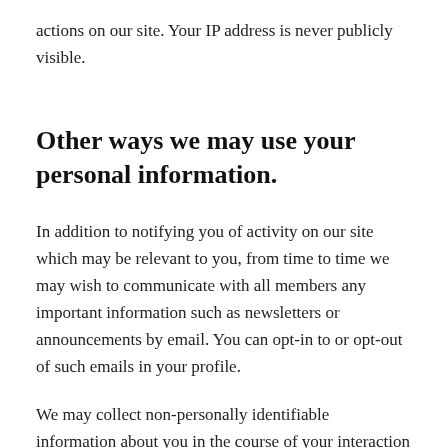actions on our site. Your IP address is never publicly visible.
Other ways we may use your personal information.
In addition to notifying you of activity on our site which may be relevant to you, from time to time we may wish to communicate with all members any important information such as newsletters or announcements by email. You can opt-in to or opt-out of such emails in your profile.
We may collect non-personally identifiable information about you in the course of your interaction with our site. This information may include technical information about the browser or type of device you're using. This information will be used purely for the purposes of analytics and tracking